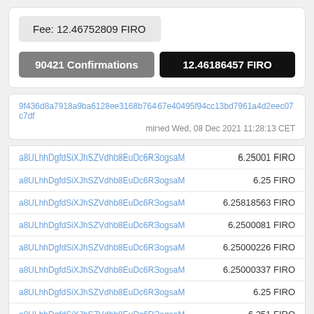Fee: 12.46752809 FIRO
90421 Confirmations
12.46186457 FIRO
9f436d8a7918a9ba6128ee3168b76467e40495f94cc13bd7961a4d2eec07c7df
mined Wed, 08 Dec 2021 11:28:13 CET
| Address | Amount |
| --- | --- |
| a8ULhhDgfdSiXJhSZVdhb8EuDc6R3ogsaM | 6.25001 FIRO |
| a8ULhhDgfdSiXJhSZVdhb8EuDc6R3ogsaM | 6.25 FIRO |
| a8ULhhDgfdSiXJhSZVdhb8EuDc6R3ogsaM | 6.25818563 FIRO |
| a8ULhhDgfdSiXJhSZVdhb8EuDc6R3ogsaM | 6.2500081 FIRO |
| a8ULhhDgfdSiXJhSZVdhb8EuDc6R3ogsaM | 6.25000226 FIRO |
| a8ULhhDgfdSiXJhSZVdhb8EuDc6R3ogsaM | 6.25000337 FIRO |
| a8ULhhDgfdSiXJhSZVdhb8EuDc6R3ogsaM | 6.25 FIRO |
| a8ULhhDgfdSiXJhSZVdhb8EuDc6R3ogsaM | 6.251 FIRO |